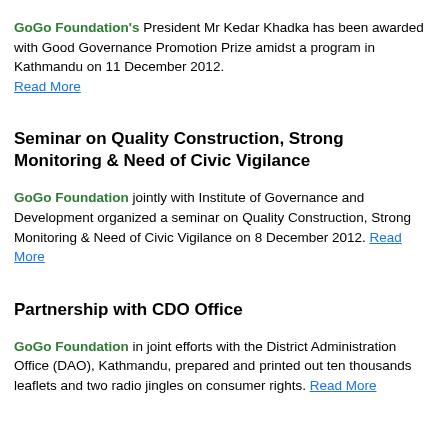GoGo Foundation's President Mr Kedar Khadka has been awarded with Good Governance Promotion Prize amidst a program in Kathmandu on 11 December 2012. Read More
Seminar on Quality Construction, Strong Monitoring & Need of Civic Vigilance
GoGo Foundation jointly with Institute of Governance and Development organized a seminar on Quality Construction, Strong Monitoring & Need of Civic Vigilance on 8 December 2012. Read More
Partnership with CDO Office
GoGo Foundation in joint efforts with the District Administration Office (DAO), Kathmandu, prepared and printed out ten thousands leaflets and two radio jingles on consumer rights. Read More